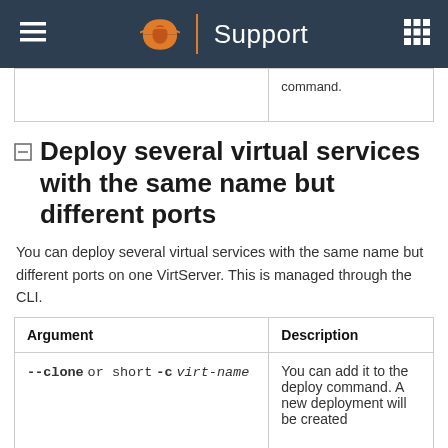Support
|  | command. |
| --- | --- |
|  |  |
Deploy several virtual services with the same name but different ports
You can deploy several virtual services with the same name but different ports on one VirtServer. This is managed through the CLI.
| Argument | Description |
| --- | --- |
| --clone or short -c virt-name | You can add it to the deploy command. A new deployment will be created |